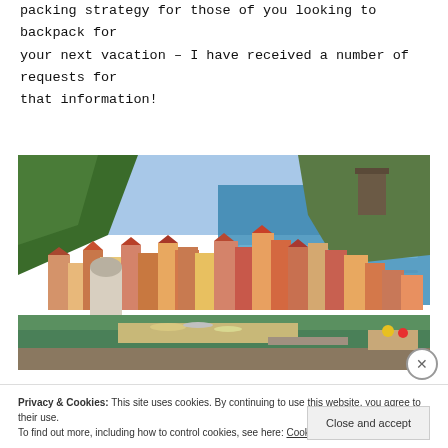packing strategy for those of you looking to backpack for your next vacation – I have received a number of requests for that information!
[Figure (photo): Aerial/overhead view of a colorful coastal Italian village (Vernazza, Cinque Terre) with densely packed multi-coloured buildings, a harbour with boats, green hillside, and blue sea in the background.]
Privacy & Cookies: This site uses cookies. By continuing to use this website, you agree to their use.
To find out more, including how to control cookies, see here: Cookie Policy